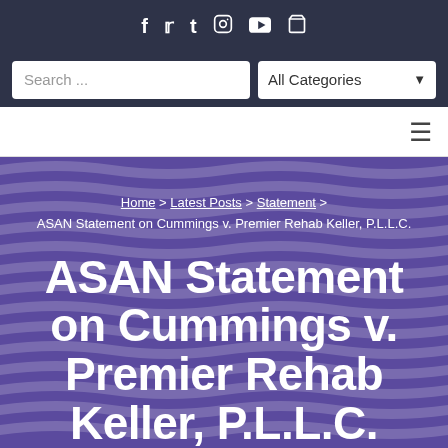Social icons: f t t Instagram YouTube cart
Search ... | All Categories
Navigation menu (hamburger)
Home > Latest Posts > Statement > ASAN Statement on Cummings v. Premier Rehab Keller, P.L.L.C.
ASAN Statement on Cummings v. Premier Rehab Keller, P.L.L.C.